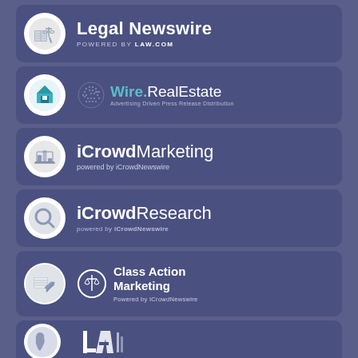[Figure (logo): Legal Newswire powered by LAW.COM logo card with circular icon showing scales/law symbols]
[Figure (logo): Wire.RealEstate logo card with globe and house icon, Advertising Driven Press Release Distribution]
[Figure (logo): iCrowdMarketing powered by iCrowdNewswire logo card]
[Figure (logo): iCrowdResearch powered by iCrowdNewswire logo card]
[Figure (logo): Class Action Marketing Powered by ICrowdNewswire logo card]
[Figure (logo): Partial logo card at bottom - LA styled logo with map icon]